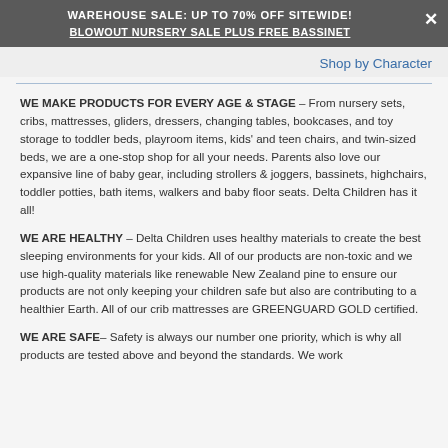WAREHOUSE SALE: UP TO 70% OFF SITEWIDE! BLOWOUT NURSERY SALE PLUS FREE BASSINET
Shop by Character
WE MAKE PRODUCTS FOR EVERY AGE & STAGE – From nursery sets, cribs, mattresses, gliders, dressers, changing tables, bookcases, and toy storage to toddler beds, playroom items, kids' and teen chairs, and twin-sized beds, we are a one-stop shop for all your needs. Parents also love our expansive line of baby gear, including strollers & joggers, bassinets, highchairs, toddler potties, bath items, walkers and baby floor seats. Delta Children has it all!
WE ARE HEALTHY – Delta Children uses healthy materials to create the best sleeping environments for your kids. All of our products are non-toxic and we use high-quality materials like renewable New Zealand pine to ensure our products are not only keeping your children safe but also are contributing to a healthier Earth. All of our crib mattresses are GREENGUARD GOLD certified.
WE ARE SAFE– Safety is always our number one priority, which is why all products are tested above and beyond the standards. We work